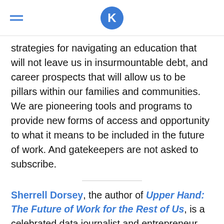K (logo)
strategies for navigating an education that will not leave us in insurmountable debt, and career prospects that will allow us to be pillars within our families and communities. We are pioneering tools and programs to provide new forms of access and opportunity to what it means to be included in the future of work. And gatekeepers are not asked to subscribe.
Sherrell Dorsey, the author of Upper Hand: The Future of Work for the Rest of Us, is a celebrated data journalist and entrepreneur. She is the founder